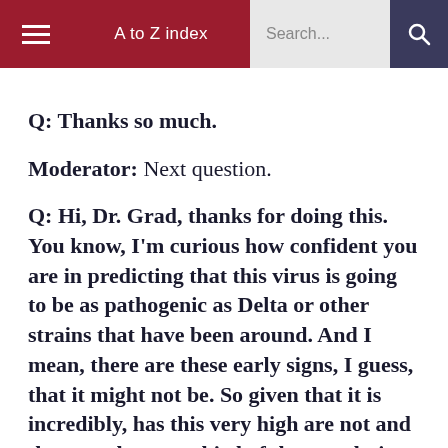A to Z index  Search...
Q: Thanks so much.
Moderator: Next question.
Q: Hi, Dr. Grad, thanks for doing this. You know, I’m curious how confident you are in predicting that this virus is going to be as pathogenic as Delta or other strains that have been around. And I mean, there are these early signs, I guess, that it might not be. So given that it is incredibly, has this very high are not and that, you know, a third of the population in the U.S. or whatever is just pretty steadfast about not